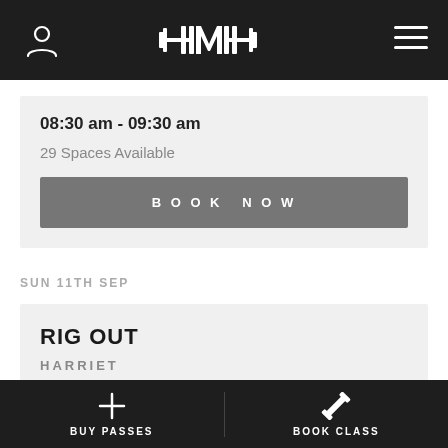[Figure (logo): HMH gym logo with barbell graphic in white on dark header, with user profile icon left and hamburger menu icon right]
08:30 am - 09:30 am
29 Spaces Available
BOOK NOW
SUN 11TH SEP
RIG OUT
HARRIET
BUY PASSES
BOOK CLASS